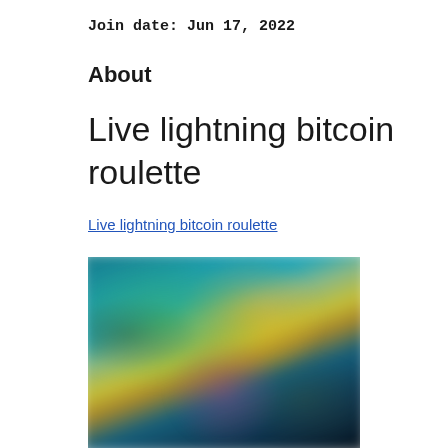Join date: Jun 17, 2022
About
Live lightning bitcoin roulette
Live lightning bitcoin roulette
[Figure (photo): Blurred screenshot of a live casino or gaming interface showing animated characters and colorful game elements]